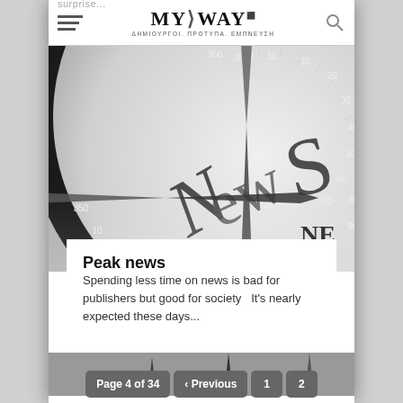MY WAY — ΔΗΜΙΟΥΡΓΟΙ. ΠΡΟΤΥΠΑ. ΕΜΠΝΕΥΣΗ
[Figure (photo): Close-up black and white photo of a compass with 'NewS' and 'NE' text overlaid, showing degree markings around the dial]
Peak news
Spending less time on news is bad for publishers but good for society   It's nearly expected these days...
Page 4 of 34  ‹ Previous  1  2